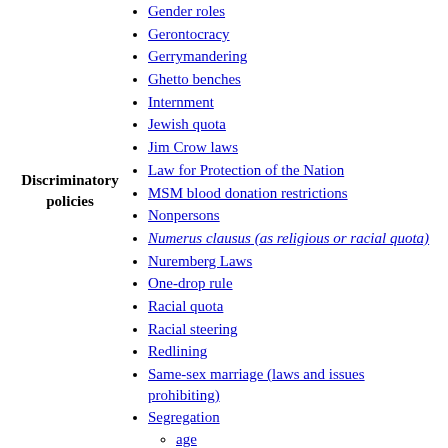Discriminatory policies
Gender roles
Gerontocracy
Gerrymandering
Ghetto benches
Internment
Jewish quota
Jim Crow laws
Law for Protection of the Nation
MSM blood donation restrictions
Nonpersons
Numerus clausus (as religious or racial quota)
Nuremberg Laws
One-drop rule
Racial quota
Racial steering
Redlining
Same-sex marriage (laws and issues prohibiting)
Segregation
age
racial
religious
sexual
Social exclusion